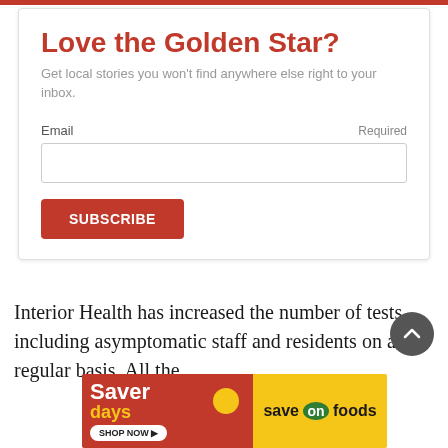Love the Golden Star?
Get local stories you won't find anywhere else right to your inbox.
Email   Required
SUBSCRIBE
Interior Health has increased the number of tests, including asymptomatic staff and residents on a regular basis. All the
[Figure (infographic): Saver days advertisement banner with 'SHOP NOW' pill button and 'save on foods' logo on yellow background]